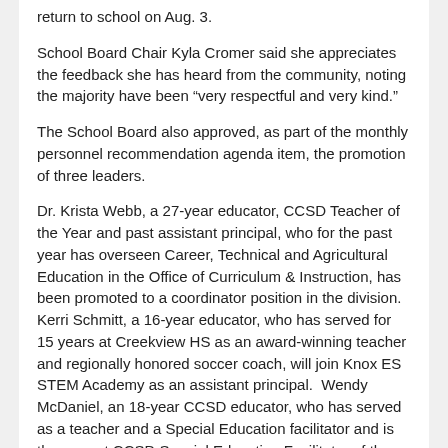return to school on Aug. 3.
School Board Chair Kyla Cromer said she appreciates the feedback she has heard from the community, noting the majority have been “very respectful and very kind.”
The School Board also approved, as part of the monthly personnel recommendation agenda item, the promotion of three leaders.
Dr. Krista Webb, a 27-year educator, CCSD Teacher of the Year and past assistant principal, who for the past year has overseen Career, Technical and Agricultural Education in the Office of Curriculum & Instruction, has been promoted to a coordinator position in the division.  Kerri Schmitt, a 16-year educator, who has served for 15 years at Creekview HS as an award-winning teacher and regionally honored soccer coach, will join Knox ES STEM Academy as an assistant principal.  Wendy McDaniel, an 18-year CCSD educator, who has served as a teacher and a Special Education facilitator and is the current CCSD Special Education Facilitator of the Year, is advancing to the assistant principal post at Woodstock ES.
The School Board also: